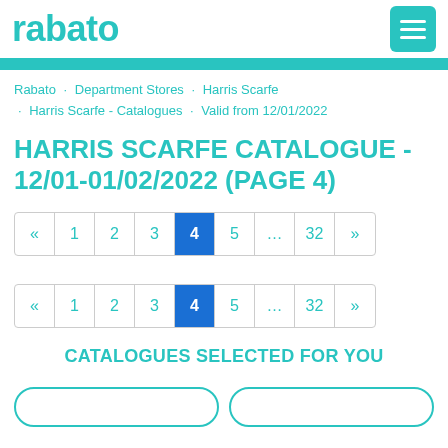rabato
Rabato · Department Stores · Harris Scarfe · Harris Scarfe - Catalogues · Valid from 12/01/2022
HARRIS SCARFE CATALOGUE - 12/01-01/02/2022 (PAGE 4)
« 1 2 3 4 5 … 32 »
« 1 2 3 4 5 … 32 »
CATALOGUES SELECTED FOR YOU